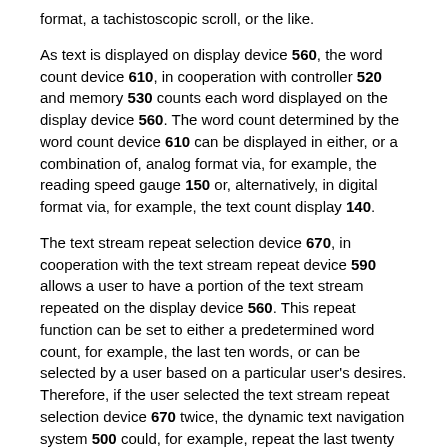format, a tachistoscopic scroll, or the like.
As text is displayed on display device 560, the word count device 610, in cooperation with controller 520 and memory 530 counts each word displayed on the display device 560. The word count determined by the word count device 610 can be displayed in either, or a combination of, analog format via, for example, the reading speed gauge 150 or, alternatively, in digital format via, for example, the text count display 140.
The text stream repeat selection device 670, in cooperation with the text stream repeat device 590 allows a user to have a portion of the text stream repeated on the display device 560. This repeat function can be set to either a predetermined word count, for example, the last ten words, or can be selected by a user based on a particular user's desires. Therefore, if the user selected the text stream repeat selection device 670 twice, the dynamic text navigation system 500 could, for example, repeat the last twenty words of the text stream.
The text stream reset selection device 680 allows for a restarting of the text stream in cooperation with the text...